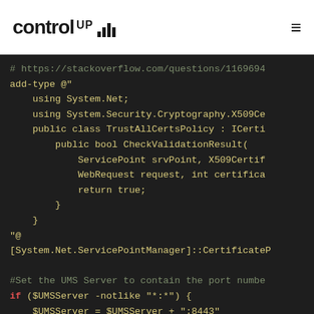controlup logo and hamburger menu
# https://stackoverflow.com/questions/1169694...
add-type @"
    using System.Net;
    using System.Security.Cryptography.X509Ce...
    public class TrustAllCertsPolicy : ICerti...
        public bool CheckValidationResult(
            ServicePoint srvPoint, X509Certif...
            WebRequest request, int certifica...
            return true;
        }
    }
"@
[System.Net.ServicePointManager]::CertificateP...

#Set the UMS Server to contain the port numbe...
if ($UMSServer -notlike "*:*") {
    $UMSServer = $UMSServer + ":8443"